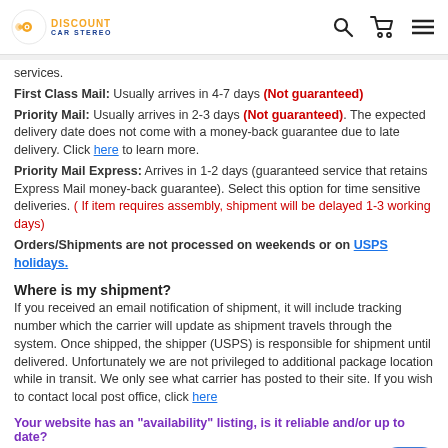[Figure (logo): Discount Car Stereo logo with speaker icon]
services.
First Class Mail: Usually arrives in 4-7 days (Not guaranteed)
Priority Mail: Usually arrives in 2-3 days (Not guaranteed). The expected delivery date does not come with a money-back guarantee due to late delivery. Click here to learn more.
Priority Mail Express: Arrives in 1-2 days (guaranteed service that retains Express Mail money-back guarantee). Select this option for time sensitive deliveries. ( If item requires assembly, shipment will be delayed 1-3 working days)
Orders/Shipments are not processed on weekends or on USPS holidays.
Where is my shipment?
If you received an email notification of shipment, it will include tracking number which the carrier will update as shipment travels through the system. Once shipped, the shipper (USPS) is responsible for shipment until delivered. Unfortunately we are not privileged to additional package location while in transit. We only see what carrier has posted to their site. If you wish to contact local post office, click here
Your website has an "availability" listing, is it reliable and/or up to date?
Every item on our site includes stock status (availability) . Status is updated during office hours (M-F 9:00AM-5:00PM E.T). It is possible that an item has gone "Out of stock"